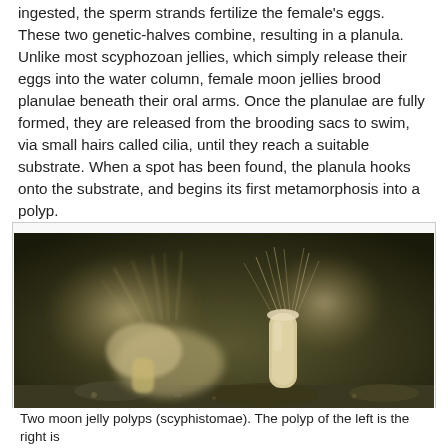ingested, the sperm strands fertilize the female's eggs. These two genetic-halves combine, resulting in a planula.  Unlike most scyphozoan jellies, which simply release their eggs into the water column, female moon jellies brood planulae beneath their oral arms.  Once the planulae are fully formed, they are released from the brooding sacs to swim, via small hairs called cilia, until they reach a suitable substrate.  When a spot has been found, the planula hooks onto the substrate, and begins its first metamorphosis into a polyp.
[Figure (photo): Close-up underwater photograph of moon jelly polyps attached to a substrate, showing small translucent polyp structures with tentacles extending upward, against a dark blurred background.]
Two moon jelly polyps (scyphistomae). The polyp of the left is the right is...